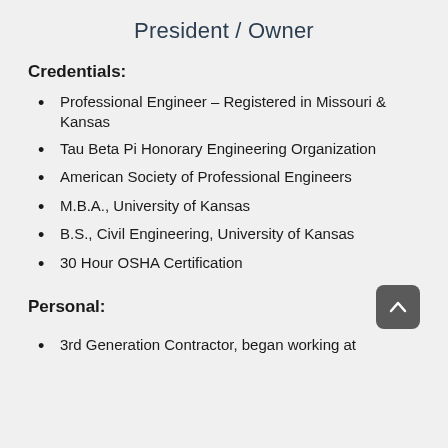President / Owner
Credentials:
Professional Engineer – Registered in Missouri & Kansas
Tau Beta Pi Honorary Engineering Organization
American Society of Professional Engineers
M.B.A., University of Kansas
B.S., Civil Engineering, University of Kansas
30 Hour OSHA Certification
Personal:
3rd Generation Contractor, began working at